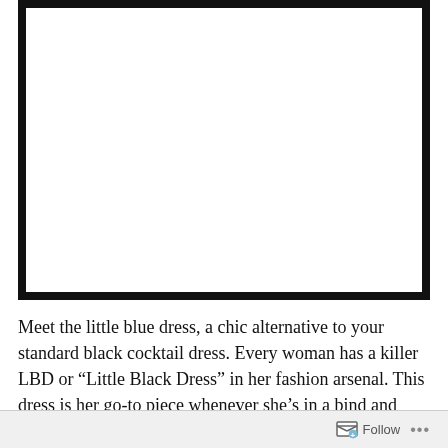[Figure (illustration): A large white rectangle with a thick black border, representing an image placeholder (the little blue dress photo area).]
Meet the little blue dress, a chic alternative to your standard black cocktail dress. Every woman has a killer LBD or “Little Black Dress” in her fashion arsenal. This dress is her go-to piece whenever she’s in a bind and
[Figure (screenshot): A WordPress Follow button bar at the bottom of the page with a follow icon and ellipsis menu.]